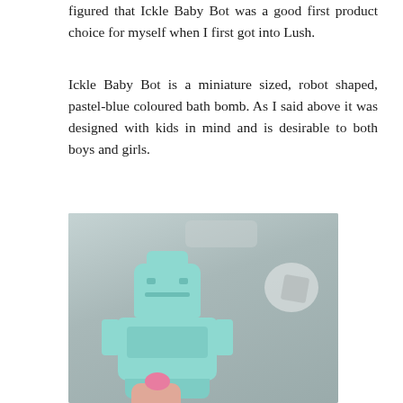figured that Ickle Baby Bot was a good first product choice for myself when I first got into Lush.
Ickle Baby Bot is a miniature sized, robot shaped, pastel-blue coloured bath bomb. As I said above it was designed with kids in mind and is desirable to both boys and girls.
[Figure (photo): A hand holding a pastel-blue robot-shaped bath bomb (Ickle Baby Bot by Lush). The bath bomb has a robot face with eyes and a mouth, arms on the sides, and a rectangular body. A pink label or button is partially visible at the bottom. In the blurred background there appears to be another white star-shaped item. The photo is taken indoors.]